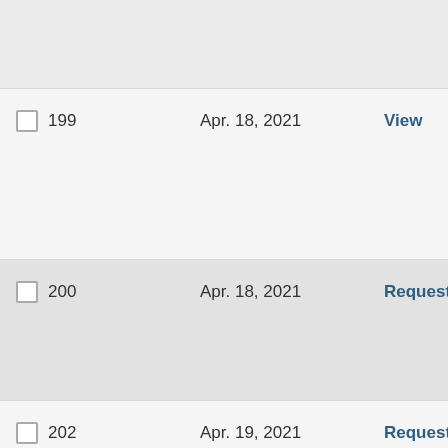| ID | Date | Action |
| --- | --- | --- |
| 199 | Apr. 18, 2021 | View |
| 200 | Apr. 18, 2021 | Request |
| 202 | Apr. 19, 2021 | Request |
| 203 | Apr. 19, 2021 | Request |